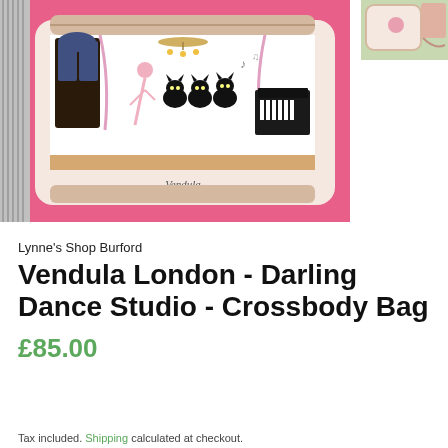[Figure (photo): Main product photo: Vendula London Darling Dance Studio crossbody bag on a pink surface. The bag features illustrated cats in a dance studio scene with a grand piano and chandelier. 'Vendula London' text visible on the bag.]
[Figure (photo): Thumbnail photo of the same Vendula London bag from a different angle, showing pink and white coloring.]
Lynne's Shop Burford
Vendula London - Darling Dance Studio - Crossbody Bag
£85.00
Tax included. Shipping calculated at checkout.